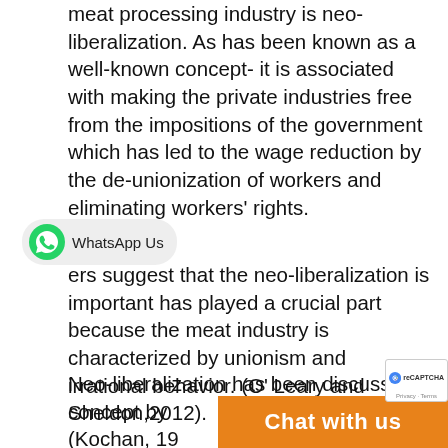meat processing industry is neo-liberalization. As has been known as a well-known concept- it is associated with making the private industries free from the impositions of the government which has led to the wage reduction by the de-unionization of workers and eliminating workers' rights.
[Figure (other): WhatsApp Us button overlay with green WhatsApp icon and pill-shaped grey background]
ers suggest that the neo-liberalization is important has played a crucial part because the meat industry is characterized by unionism and irrational behavior. (O' Leary and Sheldon,2012).
Neo-liberalization has been discussed a concept by he pas (Kochan, 19 lationship
[Figure (other): Chat with us orange bar overlay at bottom of page, and reCAPTCHA badge in bottom-right corner]